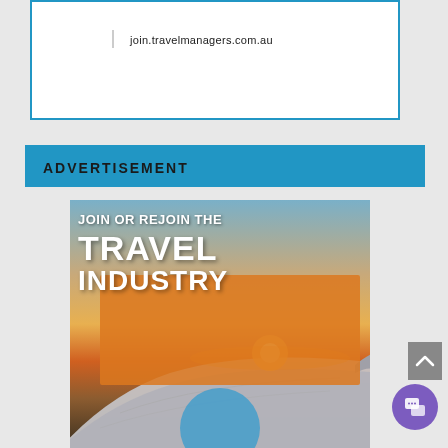join.travelmanagers.com.au
ADVERTISEMENT
[Figure (photo): Advertisement image showing airplane wing at sunset with text overlay: JOIN OR REJOIN THE TRAVEL INDUSTRY]